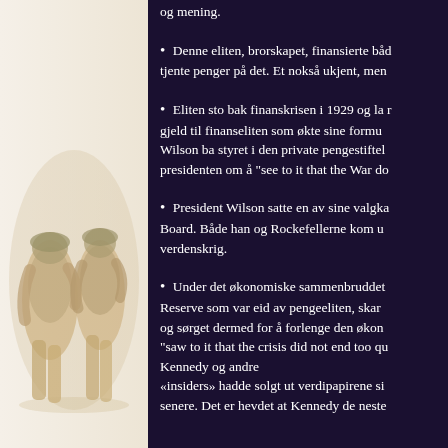[Figure (illustration): Watercolor illustration of soldiers in military uniforms running, depicted in warm tan and beige tones]
og mening.
Denne eliten, brorskapet, finansierte båd tjente penger på det. Et nokså ukjent, men
Eliten sto bak finanskrisen i 1929 og la r gjeld til finanseliten som økte sine formu Wilson ba styret i den private pengestiftel presidenten om å "see to it that the War do
President Wilson satte en av sine valgka Board. Både han og Rockefellerne kom u verdenskrig.
Under det økonomiske sammenbruddet Reserve som var eid av pengeeliten, skar og sørget dermed for å forlenge den økon "saw to it that the crisis did not end too qu Kennedy og andre «insiders» hadde solgt ut verdipapirene si senere. Det er hevdet at Kennedy de neste